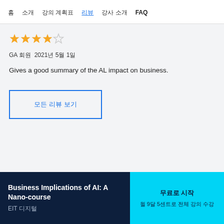홈   소개   강의 계획표   리뷰   강사 소개   FAQ
[Figure (other): 4 out of 5 stars rating]
GA 회원   2021년 5월 1일
Gives a good summary of the AL impact on business.
모든 리뷰 보기
Business Implications of AI: A Nano-course
EIT 디지털
무료로 시작
월 9달 5센트로 전체 강의 수강